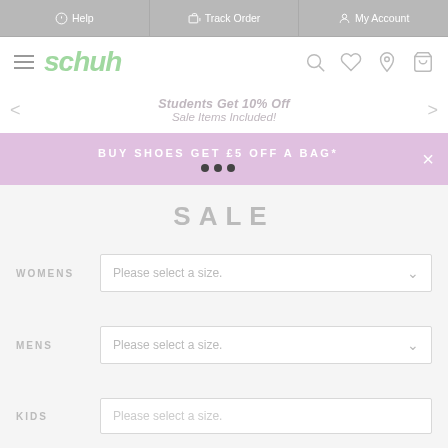Help | Track Order | My Account
[Figure (logo): Schuh brand logo with hamburger menu and icons for search, wishlist, store locator, and bag]
Students Get 10% Off
Sale Items Included!
BUY SHOES GET £5 OFF A BAG*
SALE
WOMENS
Please select a size.
MENS
Please select a size.
KIDS
Please select a size.